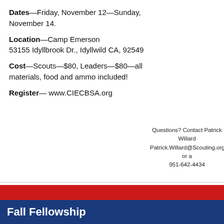[Figure (illustration): American flag background with red and white wavy stripes and stars, plus a black distressed tree/arrow graphic on the right side]
Dates—Friday, November 12—Sunday, November 14.
Location—Camp Emerson
53155 Idyllbrook Dr., Idyllwild CA, 92549
Cost—Scouts—$80, Leaders—$80—all materials, food and ammo included!
Register— www.CIECBSA.org
Questions? Contact Patrick Willard Patrick.Willard@Scouting.org or a 951-642-4434
Fall Fellowship